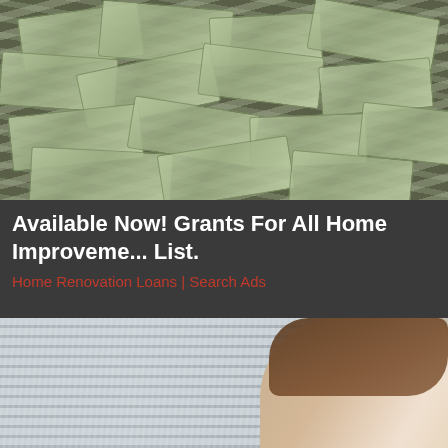[Figure (photo): Pile of bundled US dollar bills stacked on top of each other, photographed from above on a dark background]
Available Now! Grants For All Home Improvements. Full List.
Home Renovation Loans | Search Ads
[Figure (photo): Woman with long brown hair wearing white clothing, talking on a smartphone while looking upward. Background shows blurred window blinds with water or condensation running down them.]